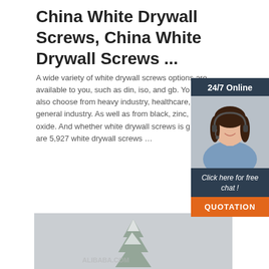China White Drywall Screws, China White Drywall Screws ...
A wide variety of white drywall screws options are available to you, such as din, iso, and gb. You also choose from heavy industry, healthcare, and general industry. As well as from black, zinc, oxide. And whether white drywall screws is g are 5,927 white drywall screws …
[Figure (infographic): Orange 'Get Price' button]
[Figure (infographic): Sidebar widget with '24/7 Online' header, photo of woman with headset, 'Click here for free chat!' text, and orange QUOTATION button]
[Figure (photo): Product image showing a snowy tree scene with watermark text]